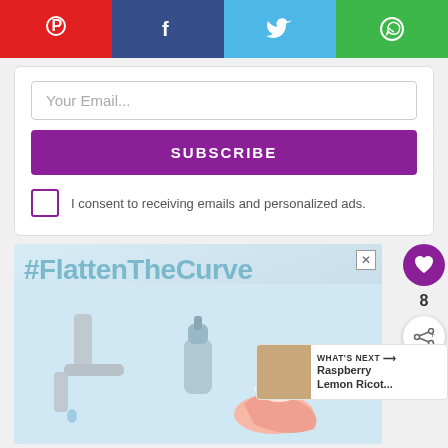[Figure (other): Social share bar with Pinterest (red), Facebook (dark blue), Twitter (light blue), WhatsApp (green) buttons]
Your Email...
SUBSCRIBE
I consent to receiving emails and personalized ads.
[Figure (photo): #FlattenTheCurve ad banner with faucet and hand-washing image]
[Figure (infographic): WHAT'S NEXT arrow label with Raspberry Lemon Ricot... thumbnail]
[Figure (infographic): #AloneTogether yellow banner and adjacent advertisement with woman at laptop]